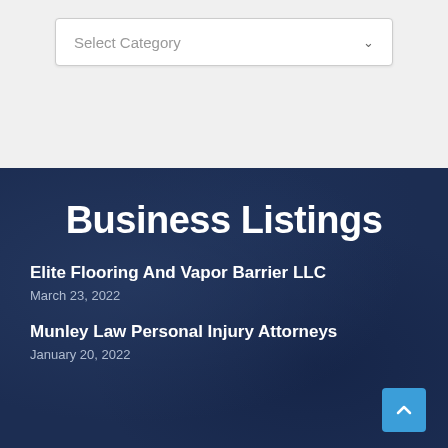[Figure (screenshot): Select Category dropdown input box with placeholder text and chevron arrow]
Business Listings
Elite Flooring And Vapor Barrier LLC
March 23, 2022
Munley Law Personal Injury Attorneys
January 20, 2022